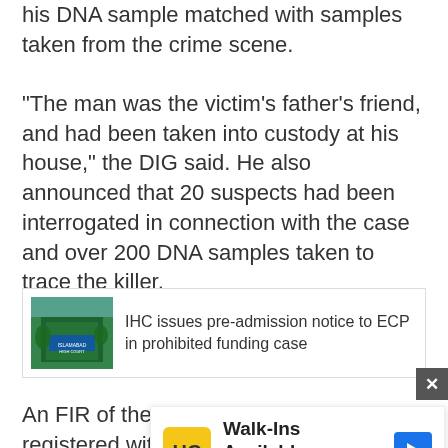his DNA sample matched with samples taken from the crime scene.
“The man was the victim’s father’s friend, and had been taken into custody at his house,” the DIG said. He also announced that 20 suspects had been interrogated in connection with the case and over 200 DNA samples taken to trace the killer.
[Figure (other): Related article thumbnail showing a building with a sign reading ISLAMABAD HIGH COURT]
IHC issues pre-admission notice to ECP in prohibited funding case
An FIR of the occurrence had been registered with Nowshe... f Pakistan...
[Figure (other): Advertisement for Hair Cuttery - Walk-Ins Available with HC logo and navigation arrow icon]